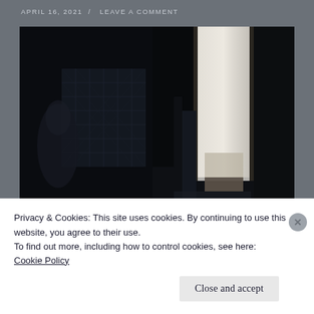APRIL 16, 2021  /  LEAVE A COMMENT
[Figure (photo): Dark interior room photograph, mostly black with dim light coming through a doorway or window on the right side, intricate decorative panels or screens visible in the background on the left]
Privacy & Cookies: This site uses cookies. By continuing to use this website, you agree to their use.
To find out more, including how to control cookies, see here:
Cookie Policy
Close and accept